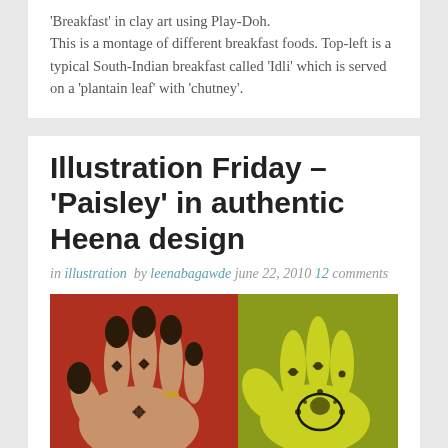'Breakfast' in clay art using Play-Doh. This is a montage of different breakfast foods. Top-left is a typical South-Indian breakfast called 'Idli' which is served on a 'plantain leaf' with 'chutney'.
Illustration Friday – 'Paisley' in authentic Heena design
in illustration by leenabagawde june 22, 2010 12 comments
[Figure (photo): Two-panel photo showing henna-decorated hands. Left panel: a real hand with black henna mehndi dots and floral patterns on fingers against a red background. Right panel: a yellow/green illustration or clay model of a hand with paisley henna design.]